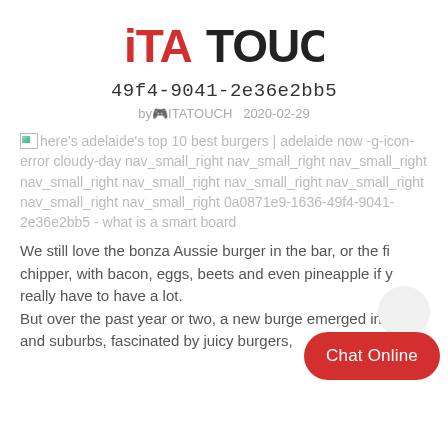[Figure (logo): ITATOUCH logo in bold red and dark text]
49f4-9041-2e36e2bb5
by🎮ITATOUCH   2020-02-29
[Figure (photo): Broken image placeholder followed by alt text: here's adelaide's top 10 best burgers | adelaide now -g-icon-error cloudy-day nav_small_right nav_small_right nav_small_right nav_small_right nav_small_right nav_small_right nav_small_right nav_small_right nav_small_right 0a0871e9-1636-49f4-9041-2e36e2bb5 - what is a smart board]
We still love the bonza Aussie burger in the bar, or the fi chipper, with bacon, eggs, beets and even pineapple if y really have to have a lot.
But over the past year or two, a new burge emerged in cities and suburbs, fascinated by juicy burgers,